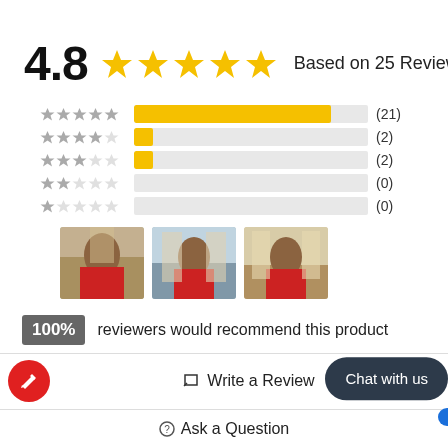4.8 ★★★★★ Based on 25 Reviews
[Figure (infographic): Star rating breakdown: 5-star (21), 4-star (2), 3-star (2), 2-star (0), 1-star (0) with horizontal progress bars]
[Figure (photo): Three thumbnail images of a person in a red outfit near architectural structures]
100% reviewers would recommend this product
✎ Write a Review
Chat with us
↩ Ask a Question